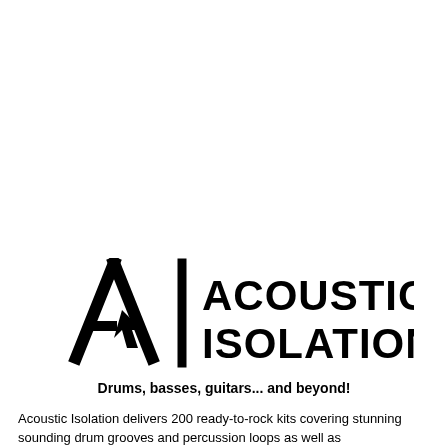[Figure (logo): Acoustic Isolation logo: stylized 'AI' letters with a cursor/arrow icon inside the A, a vertical bar separator, and bold text reading ACOUSTIC ISOLATION]
Drums, basses, guitars... and beyond!
Acoustic Isolation delivers 200 ready-to-rock kits covering stunning sounding drum grooves and percussion loops as well as